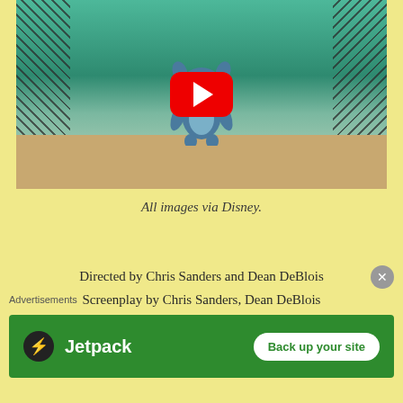[Figure (screenshot): YouTube video thumbnail showing Stitch character from Lilo & Stitch in front of a chain-link fence, with YouTube play button overlay]
All images via Disney.
Directed by Chris Sanders and Dean DeBlois
Screenplay by Chris Sanders, Dean DeBlois
Produced by Clark Spencer
Starring Daveigh Chase, Chris Sanders, Tia Carrere, David
Advertisements
[Figure (logo): Jetpack advertisement banner with green background, Jetpack logo, and 'Back up your site' button]